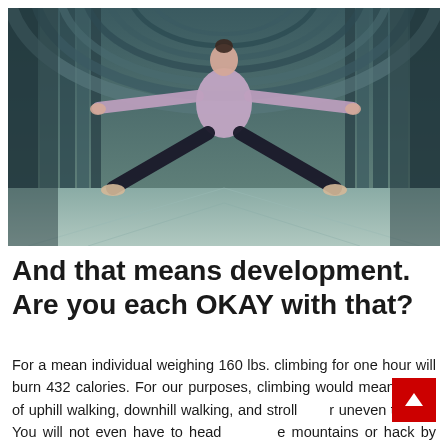[Figure (photo): A female ballet dancer in a lavender/purple top and black tights performing a split leap pose, balancing on pointe shoes, inside a modern glass and steel tunnel corridor with arched ceiling. The tunnel has a green-grey teal color with geometric patterns.]
And that means development. Are you each OKAY with that?
For a mean individual weighing 160 lbs. climbing for one hour will burn 432 calories. For our purposes, climbing would mean a mix of uphill walking, downhill walking, and strolling over uneven terrain. You will not even have to head to the mountains or hack by means of any thick jungle vines.